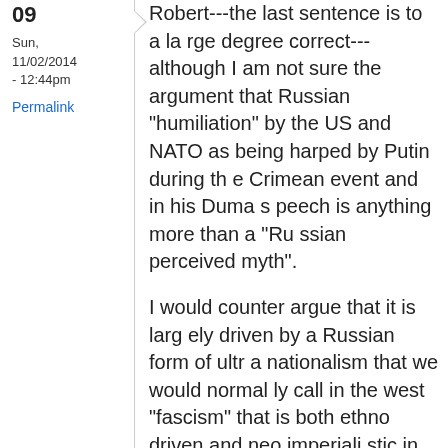09
Sun, 11/02/2014 - 12:44pm
Permalink
Robert---the last sentence is to a large degree correct---although I am not sure the argument that Russian "humiliation" by the US and NATO as being harped by Putin during the Crimean event and in his Duma speech is anything more than a "Russian perceived myth".
I would counter argue that it is largely driven by a Russian form of ultra nationalism that we would normally call in the west "fascism" that is both ethno driven and neo imperialistic in nature and it goes back to it being there even when it was the former Soviet Union. If one looks closely at all former Warsaw Pact countries there was already by 1998 a strong neo Nazi movement afoot